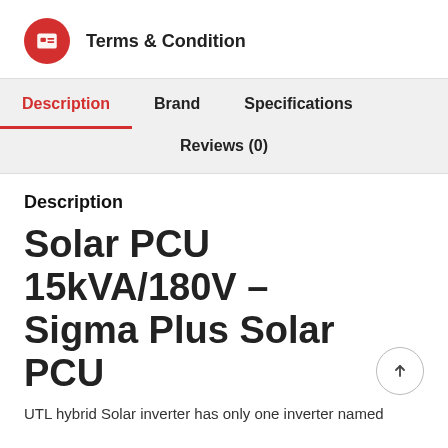[Figure (logo): Red circle icon with a card/ID badge symbol inside, representing Terms & Condition]
Terms & Condition
Description
Brand
Specifications
Reviews (0)
Description
Solar PCU 15kVA/180V – Sigma Plus Solar PCU
UTL hybrid Solar inverter has only one inverter named